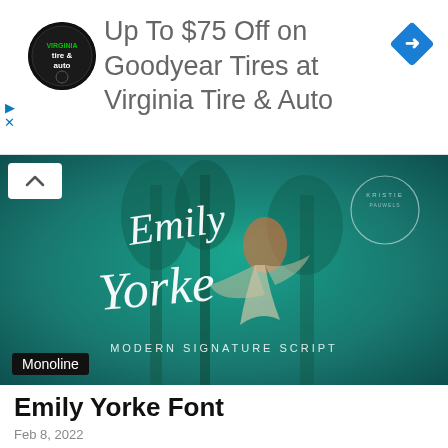[Figure (other): Advertisement banner: logo for Virginia Tire & Auto (circular black logo), text 'Up To $75 Off on Goodyear Tires at Virginia Tire & Auto', and a blue navigation diamond icon on the right]
[Figure (illustration): Teal/green background image showing a dancer in a white flowing dress among trees, with white script text 'Emily Yorke' and smaller text 'MODERN SIGNATURE SCRIPT'. A 'Monoline' label tag appears in the bottom-left corner.]
Emily Yorke Font
Feb 8, 2022